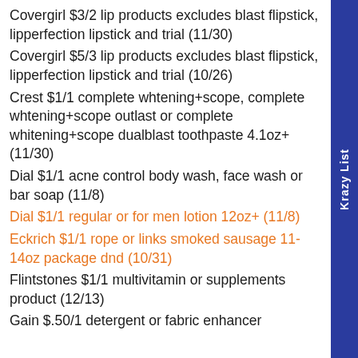Covergirl $3/2 lip products excludes blast flipstick, lipperfection lipstick and trial (11/30)
Covergirl $5/3 lip products excludes blast flipstick, lipperfection lipstick and trial (10/26)
Crest $1/1 complete whtening+scope, complete whtening+scope outlast or complete whitening+scope dualblast toothpaste 4.1oz+ (11/30)
Dial $1/1 acne control body wash, face wash or bar soap (11/8)
Dial $1/1 regular or for men lotion 12oz+ (11/8)
Eckrich $1/1 rope or links smoked sausage 11-14oz package dnd (10/31)
Flintstones $1/1 multivitamin or supplements product (12/13)
Gain $.50/1 detergent or fabric enhancer
Krazy List